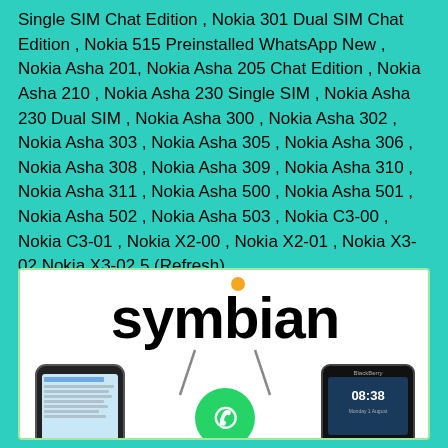Single SIM Chat Edition , Nokia 301 Dual SIM Chat Edition , Nokia 515 Preinstalled WhatsApp New , Nokia Asha 201, Nokia Asha 205 Chat Edition , Nokia Asha 210 , Nokia Asha 230 Single SIM , Nokia Asha 230 Dual SIM , Nokia Asha 300 , Nokia Asha 302 , Nokia Asha 303 , Nokia Asha 305 , Nokia Asha 306 , Nokia Asha 308 , Nokia Asha 309 , Nokia Asha 310 , Nokia Asha 311 , Nokia Asha 500 , Nokia Asha 501 , Nokia Asha 502 , Nokia Asha 503 , Nokia C3-00 , Nokia C3-01 , Nokia X2-00 , Nokia X2-01 , Nokia X3-02 Nokia X3-02.5 (Refresh)
[Figure (illustration): Symbian logo with 'symbian' text in bold black with an orange dot above the 'i', flanked by an iPhone-like phone on the left, a WhatsApp icon with antenna in the middle, and a BlackBerry phone on the right, all on a white background with light green border.]